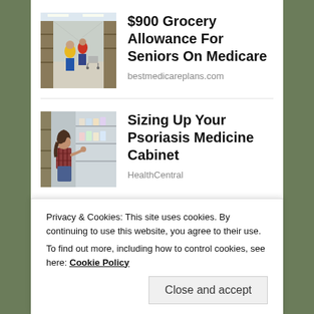[Figure (photo): Grocery store aisle with shoppers, people with carts]
$900 Grocery Allowance For Seniors On Medicare
bestmedicareplans.com
[Figure (photo): Woman crouching in store aisle looking at products on shelves]
Sizing Up Your Psoriasis Medicine Cabinet
HealthCentral
Privacy & Cookies: This site uses cookies. By continuing to use this website, you agree to their use.
To find out more, including how to control cookies, see here: Cookie Policy